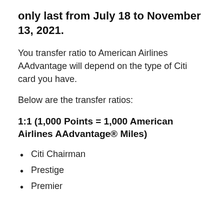only last from July 18 to November 13, 2021.
You transfer ratio to American Airlines AAdvantage will depend on the type of Citi card you have.
Below are the transfer ratios:
1:1 (1,000 Points = 1,000 American Airlines AAdvantage® Miles)
Citi Chairman
Prestige
Premier